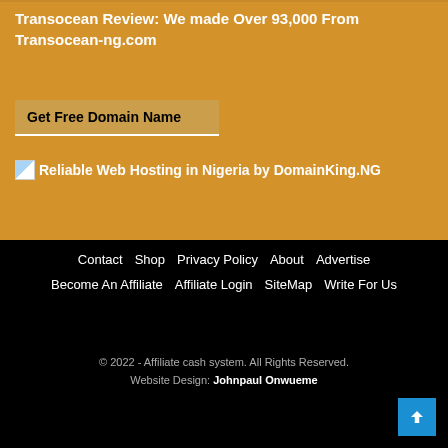Transocean Review: We made Over 93,000 From Transocean-ng.com
Get Free Domain Name
[Figure (other): Reliable Web Hosting in Nigeria by DomainKing.NG image with alt text]
Contact | Shop | Privacy Policy | About | Advertise | Become An Affiliate | Affiliate Login | SiteMap | Write For Us
© 2022 - Affiliate cash system. All Rights Reserved. Website Design: Johnpaul Onwueme